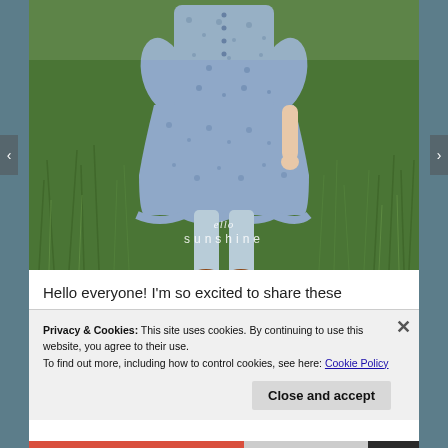[Figure (photo): A child wearing a blue floral dress with ruffled hem and light blue leggings standing in tall green grass. Watermark text 'ello sunshine' appears in the lower portion of the image.]
Hello everyone! I'm so excited to share these
Privacy & Cookies: This site uses cookies. By continuing to use this website, you agree to their use.
To find out more, including how to control cookies, see here: Cookie Policy
Close and accept